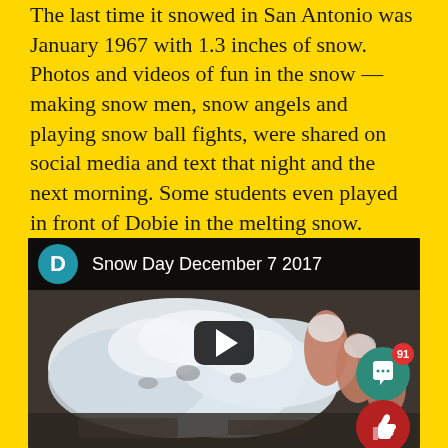The last time it snowed in San Antonio was January 1967 with 1.3 inches of snow. Photos and videos of fun in the snow — making snow men, snow angels and playing snow ball fights, were shared on social media and text that night and the next morning. Some students even played in front of Dobie in the melting snow. School was not closed or delayed on December 8 as many hoped. Watch our video and read what some Dobie students said about their experience below.
[Figure (screenshot): YouTube-style video embed titled 'Snow Day December 7 2017' showing a close-up photo of snow/ice in hands, with a play button overlay and social interaction buttons (comment count 91, like button).]